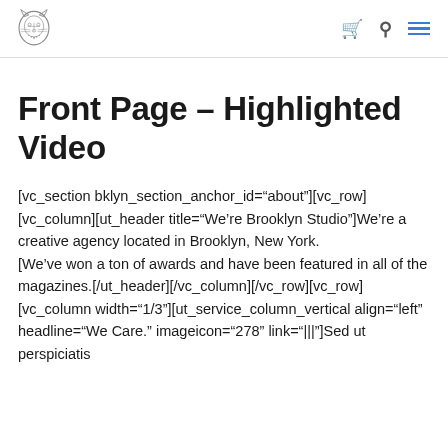[logo] [cart icon] [search icon] [menu icon]
Front Page – Highlighted Video
[vc_section bklyn_section_anchor_id="about"][vc_row][vc_column][ut_header title="We're Brooklyn Studio"]We're a creative agency located in Brooklyn, New York.
We've won a ton of awards and have been featured in all of the magazines.[/ut_header][/vc_column][/vc_row][vc_row][vc_column width="1/3"][ut_service_column_vertical align="left" headline="We Care." imageicon="278" link="|||"]]Sed ut perspiciatis